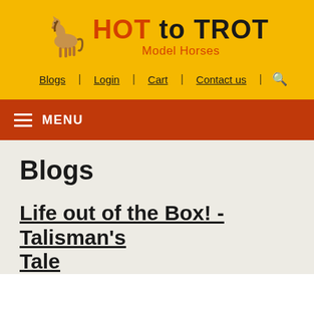[Figure (logo): Hot to Trot Model Horses logo with a horse illustration and text]
Blogs | Login | Cart | Contact us
MENU
Blogs
Life out of the Box! - Talisman's Tale